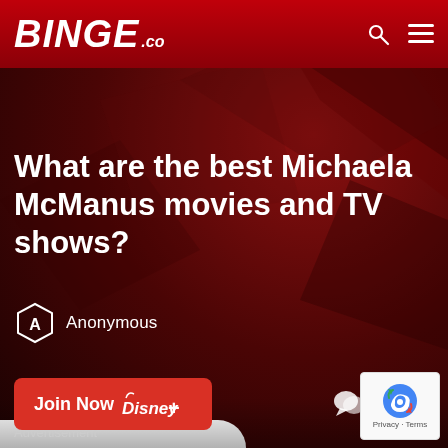BINGE.co
What are the best Michaela McManus movies and TV shows?
Anonymous
[Figure (other): Join Now Disney+ button — red rounded rectangle with 'Join Now' text and Disney+ logo]
[Figure (other): Comment bubble icon with count 5 and share icon]
Advertisement
[Figure (other): Google reCAPTCHA badge with robot icon, Privacy and Terms links]